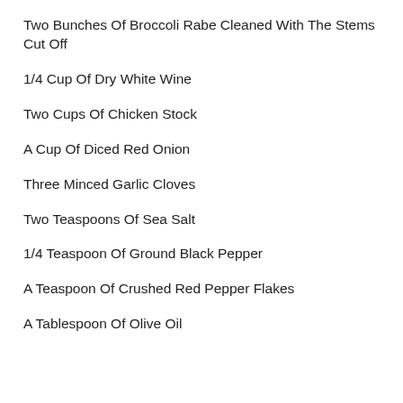Two Bunches Of Broccoli Rabe Cleaned With The Stems Cut Off
1/4 Cup Of Dry White Wine
Two Cups Of Chicken Stock
A Cup Of Diced Red Onion
Three Minced Garlic Cloves
Two Teaspoons Of Sea Salt
1/4 Teaspoon Of Ground Black Pepper
A Teaspoon Of Crushed Red Pepper Flakes
A Tablespoon Of Olive Oil